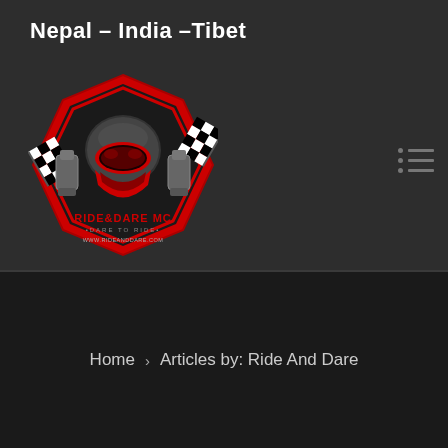Nepal – India –Tibet
[Figure (logo): Ride & Dare MC motorcycle club logo — a red and black diamond/hexagon shaped emblem featuring a motocross helmeted rider with goggles, crossed checkered flags, engine pistons, the text 'RIDE&DARE MC', 'DARE TO RIDE', and 'WWW.RIDEANDDARE.COM']
Home > Articles by: Ride And Dare